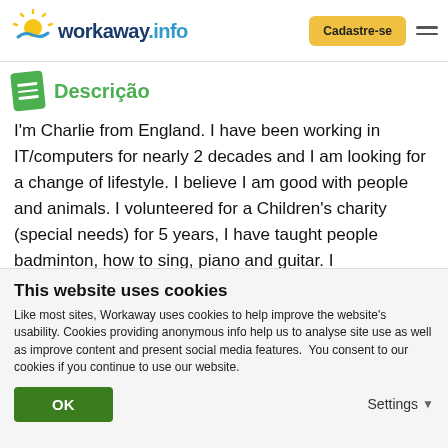workaway.info — Cadastre-se
Descrição
I'm Charlie from England. I have been working in IT/computers for nearly 2 decades and I am looking for a change of lifestyle. I believe I am good with people and animals. I volunteered for a Children's charity (special needs) for 5 years, I have taught people badminton, how to sing, piano and guitar. I communicate my knowledge/skills in a way that is suited to the student.
This website uses cookies
Like most sites, Workaway uses cookies to help improve the website's usability. Cookies providing anonymous info help us to analyse site use as well as improve content and present social media features.  You consent to our cookies if you continue to use our website.
OK
Settings